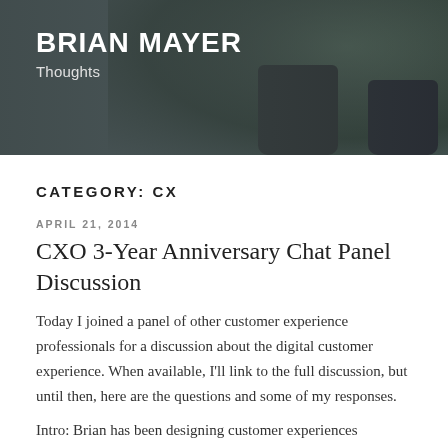BRIAN MAYER
Thoughts
CATEGORY: CX
APRIL 21, 2014
CXO 3-Year Anniversary Chat Panel Discussion
Today I joined a panel of other customer experience professionals for a discussion about the digital customer experience. When available, I'll link to the full discussion, but until then, here are the questions and some of my responses.
Intro: Brian has been designing customer experiences